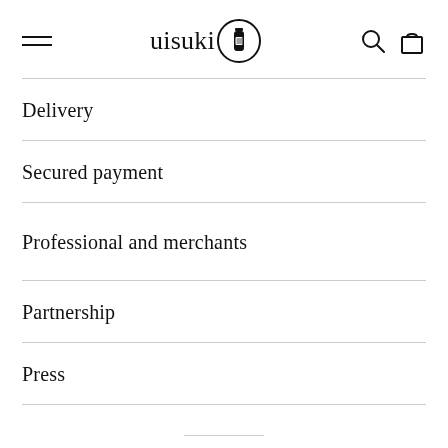uisuki [logo with bottle icon]
Delivery
Secured payment
Professional and merchants
Partnership
Press